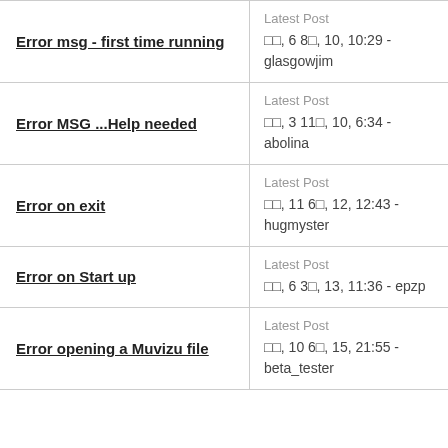| Topic | Latest Post |
| --- | --- |
| Error msg - first time running | Latest Post
□□, 6 8□, 10, 10:29 - glasgowjim |
| Error MSG ...Help needed | Latest Post
□□, 3 11□, 10, 6:34 - abolina |
| Error on exit | Latest Post
□□, 11 6□, 12, 12:43 - hugmyster |
| Error on Start up | Latest Post
□□, 6 3□, 13, 11:36 - epzp |
| Error opening a Muvizu file | Latest Post
□□, 10 6□, 15, 21:55 - beta_tester |